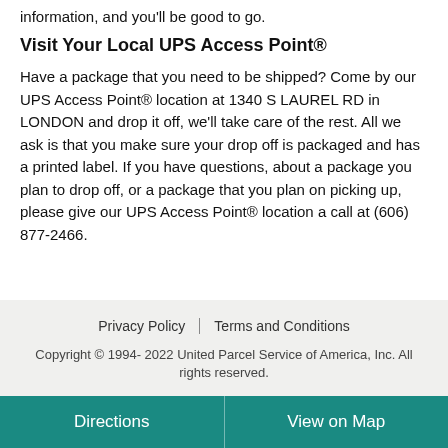information, and you'll be good to go.
Visit Your Local UPS Access Point®
Have a package that you need to be shipped? Come by our UPS Access Point® location at 1340 S LAUREL RD in LONDON and drop it off, we'll take care of the rest. All we ask is that you make sure your drop off is packaged and has a printed label. If you have questions, about a package you plan to drop off, or a package that you plan on picking up, please give our UPS Access Point® location a call at (606) 877-2466.
Privacy Policy | Terms and Conditions
Copyright © 1994- 2022 United Parcel Service of America, Inc. All rights reserved.
Directions | View on Map